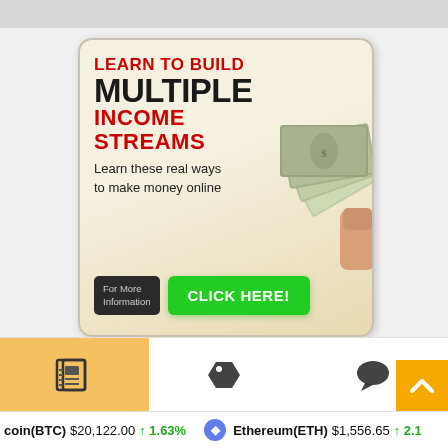[Figure (infographic): Advertisement banner: Learn to Build Multiple Income Streams. Learn these real ways to make money online. Click Here button. Features image of fanned dollar bills.]
[Figure (screenshot): Bottom navigation bar with newspaper icon (active, orange background), tag/price icon, and speech bubble icon. Scroll-to-top arrow button in orange. Crypto ticker showing Bitcoin(BTC) $20,122.00 up 1.63% and Ethereum(ETH) $1,556.65 up 2.1...]